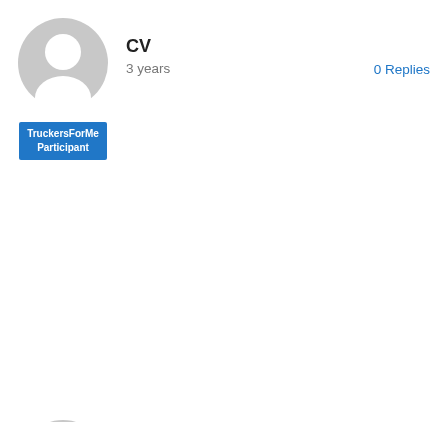[Figure (illustration): Generic user avatar (grey silhouette circle) for first post]
TruckersForMe Participant
CV
3 years
0 Replies
[Figure (illustration): Generic user avatar (grey silhouette circle) for second post]
TruckersForMe Participant
How to write an ECE CV
3 years
0 Replies
[Figure (illustration): Generic user avatar (grey silhouette circle, partially visible) for third post]
CV for Ph.D program (Material